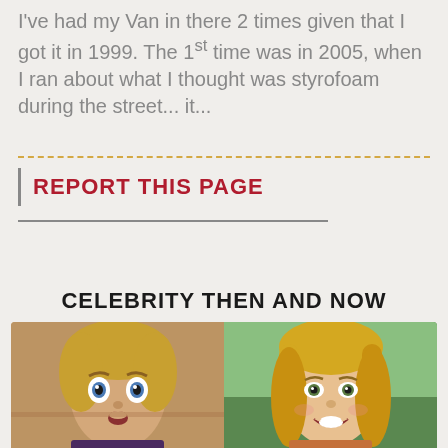I've had my Van in there 2 times given that I got it in 1999. The 1st time was in 2005, when I ran about what I thought was styrofoam during the street... it...
REPORT THIS PAGE
CELEBRITY THEN AND NOW
[Figure (photo): Two side-by-side photos showing a celebrity then (young child with surprised expression) and now (adult woman smiling with blonde hair)]